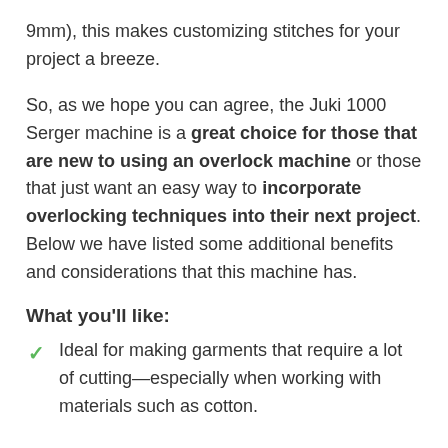9mm), this makes customizing stitches for your project a breeze.
So, as we hope you can agree, the Juki 1000 Serger machine is a great choice for those that are new to using an overlock machine or those that just want an easy way to incorporate overlocking techniques into their next project. Below we have listed some additional benefits and considerations that this machine has.
What you'll like:
Ideal for making garments that require a lot of cutting—especially when working with materials such as cotton.